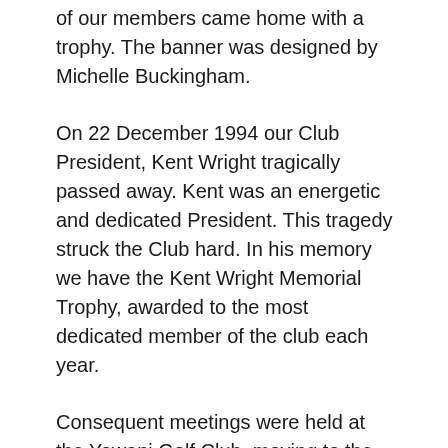of our members came home with a trophy. The banner was designed by Michelle Buckingham.
On 22 December 1994 our Club President, Kent Wright tragically passed away. Kent was an energetic and dedicated President. This tragedy struck the Club hard. In his memory we have the Kent Wright Memorial Trophy, awarded to the most dedicated member of the club each year.
Consequent meetings were held at the Yowani Golf Club, moving to the Downer Club in about 1992, followed by Olims Hotel , Ainslie. Our current venue is the Canberra Football Club, Grose St Deakin.
Meetings have always been held at 7:30 pm on the 1st Monday of the month, except public holidays when the meeting is deferred to the second Monday of the month. All are welcome to attend this open meeting for members